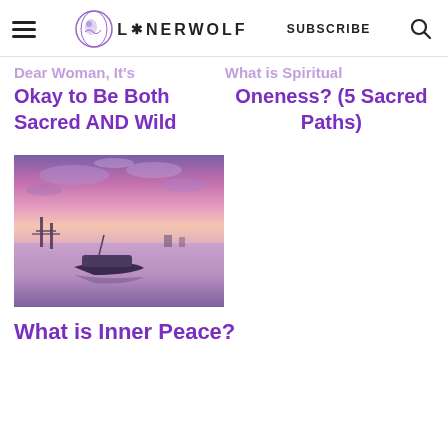LONERWOLF | SUBSCRIBE
Dear Woman, It's Okay to Be Both Sacred AND Wild
What is Spiritual Oneness? (5 Sacred Paths)
[Figure (photo): A wooden boat on a calm reflective lake at sunset with vivid purple and pink sky]
What is Inner Peace?